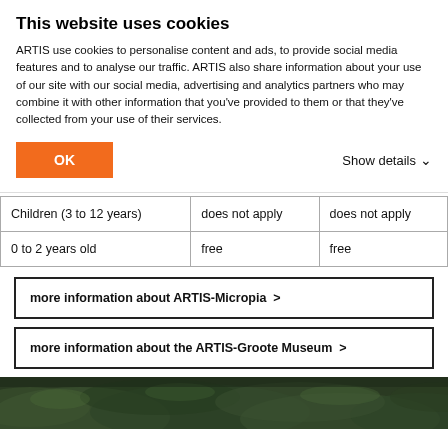This website uses cookies
ARTIS use cookies to personalise content and ads, to provide social media features and to analyse our traffic. ARTIS also share information about your use of our site with our social media, advertising and analytics partners who may combine it with other information that you've provided to them or that they've collected from your use of their services.
| Children (3 to 12 years) | does not apply | does not apply |
| 0 to 2 years old | free | free |
more information about ARTIS-Micropia >
more information about the ARTIS-Groote Museum >
[Figure (photo): Dark green foliage / nature photograph strip at bottom of page]